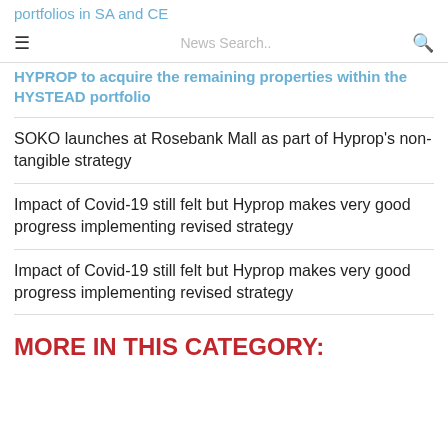portfolios in SA and CE
☰  News Search..  🔍
HYPROP to acquire the remaining properties within the HYSTEAD portfolio
SOKO launches at Rosebank Mall as part of Hyprop's non-tangible strategy
Impact of Covid-19 still felt but Hyprop makes very good progress implementing revised strategy
Impact of Covid-19 still felt but Hyprop makes very good progress implementing revised strategy
MORE IN THIS CATEGORY: